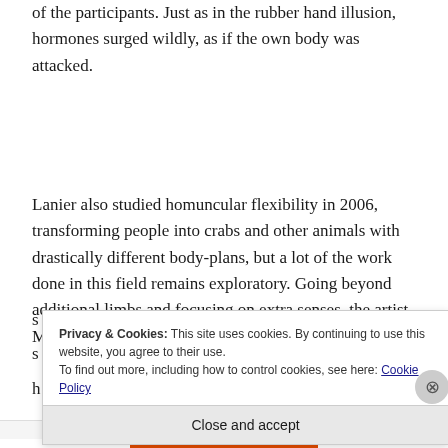of the participants. Just as in the rubber hand illusion, hormones surged wildly, as if the own body was attacked.
Lanier also studied homuncular flexibility in 2006, transforming people into crabs and other animals with drastically different body-plans, but a lot of the work done in this field remains exploratory. Going beyond additional limbs and focusing on extra senses, the artist Moon Ribas worked for instance with a movement
Privacy & Cookies: This site uses cookies. By continuing to use this website, you agree to their use.
To find out more, including how to control cookies, see here: Cookie Policy
Close and accept
Advertisements